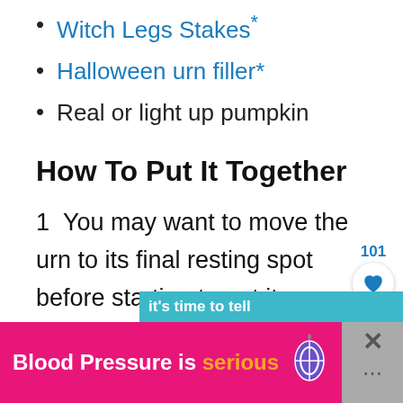Witch Legs Stakes*
Halloween urn filler*
Real or light up pumpkin
How To Put It Together
1  You may want to move the urn to its final resting spot before starting to put it together since they can be heavy and moving them afterwards can mess up your carefully-arranged décor.
[Figure (other): Like/heart button widget with count 101]
[Figure (other): Advertisement banner: Blood Pressure is serious with hot pink background and orange text for 'serious', balloon icon, and close button]